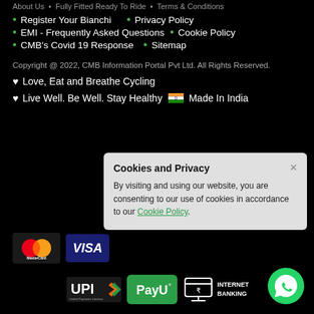About Us  •  Fully Fitted Ready To Ride  •  Terms & Conditions
Register Your Bianchi  •  Privacy Policy
EMI - Frequently Asked Questions  •  Cookie Policy
CMB's Covid 19 Response  •  Sitemap
Copyright @ 2022, CMB Information Portal Pvt Ltd. All Rights Reserved.
♥ Love, Eat and Breathe Cycling
♥ Live Well. Be Well. Stay Healthy 🇮🇳 Made In India
[Figure (screenshot): Payment method logos: MasterCard, VISA, UPI, PayU, Internet Banking icons on black background]
Cookies and Privacy
By visiting and using our website, you are consenting to our use of cookies in accordance to our Cookie Policy.